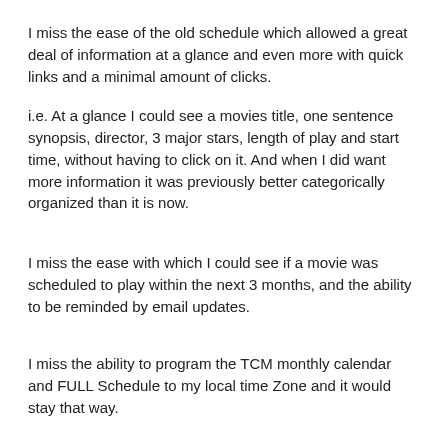I miss the ease of the old schedule which allowed a great deal of information at a glance and even more with quick links and a minimal amount of clicks.
i.e. At a glance I could see a movies title, one sentence synopsis, director, 3 major stars, length of play and start time, without having to click on it. And when I did want more information it was previously better categorically organized than it is now.
I miss the ease with which I could see if a movie was scheduled to play within the next 3 months, and the ability to be reminded by email updates.
I miss the ability to program the TCM monthly calendar and FULL Schedule to my local time Zone and it would stay that way.
I could go on and on, and I would if I believed it would actually make a